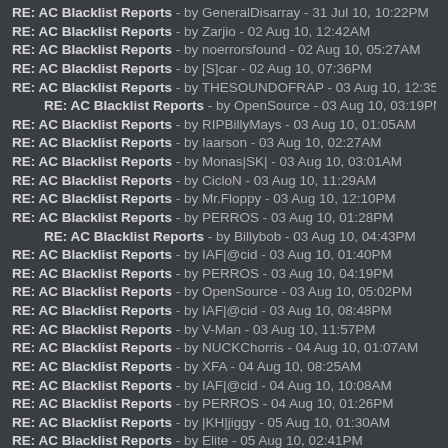RE: AC Blacklist Reports - by GeneralDisarray - 31 Jul 10, 10:22PM
RE: AC Blacklist Reports - by Zarjio - 02 Aug 10, 12:42AM
RE: AC Blacklist Reports - by noerrorsfound - 02 Aug 10, 05:27AM
RE: AC Blacklist Reports - by [S]car - 02 Aug 10, 07:36PM
RE: AC Blacklist Reports - by THESOUNDOFRAP - 03 Aug 10, 12:35AM
RE: AC Blacklist Reports - by OpenSource - 03 Aug 10, 03:19PM
RE: AC Blacklist Reports - by RIPBillyMays - 03 Aug 10, 01:05AM
RE: AC Blacklist Reports - by Iaarson - 03 Aug 10, 02:27AM
RE: AC Blacklist Reports - by Monas|SK| - 03 Aug 10, 03:01AM
RE: AC Blacklist Reports - by CicloN - 03 Aug 10, 11:29AM
RE: AC Blacklist Reports - by Mr.Floppy - 03 Aug 10, 12:10PM
RE: AC Blacklist Reports - by PERROS - 03 Aug 10, 01:28PM
RE: AC Blacklist Reports - by Billybob - 03 Aug 10, 04:43PM
RE: AC Blacklist Reports - by IAF|@cid - 03 Aug 10, 01:40PM
RE: AC Blacklist Reports - by PERROS - 03 Aug 10, 04:19PM
RE: AC Blacklist Reports - by OpenSource - 03 Aug 10, 05:02PM
RE: AC Blacklist Reports - by IAF|@cid - 03 Aug 10, 08:48PM
RE: AC Blacklist Reports - by V-Man - 03 Aug 10, 11:57PM
RE: AC Blacklist Reports - by NUCKChorris - 04 Aug 10, 01:07AM
RE: AC Blacklist Reports - by XFA - 04 Aug 10, 08:25AM
RE: AC Blacklist Reports - by IAF|@cid - 04 Aug 10, 10:08AM
RE: AC Blacklist Reports - by PERROS - 04 Aug 10, 01:26PM
RE: AC Blacklist Reports - by |KH|jiggy - 05 Aug 10, 01:30AM
RE: AC Blacklist Reports - by Elite - 05 Aug 10, 02:41PM
RE: AC Blacklist Reports - by OpenSource - 05 Aug 10, 03:27PM